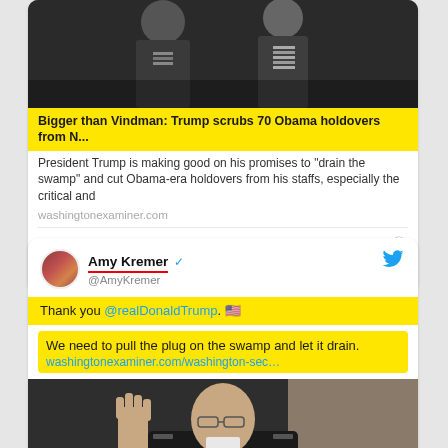[Figure (screenshot): Partial tweet card showing two military figures in uniform, cropped at the top]
Bigger than Vindman: Trump scrubs 70 Obama holdovers from N...
President Trump is making good on his promises to "drain the swamp" and cut Obama-era holdovers from his staffs, especially the critical and
washingtonexaminer.com
3,575   9:47 AM · Feb 10, 2020
1,334 people are talking about this
[Figure (screenshot): Tweet by Amy Kremer (@AmyKremer) with verified badge. Text: Thank you @realDonaldTrump. [US flag emoji]. We need to pull the plug on the swamp and let it drain. washingtonexaminer.com/washington-sec... Followed by a photo of a military officer in uniform raising his right hand as if taking an oath.]